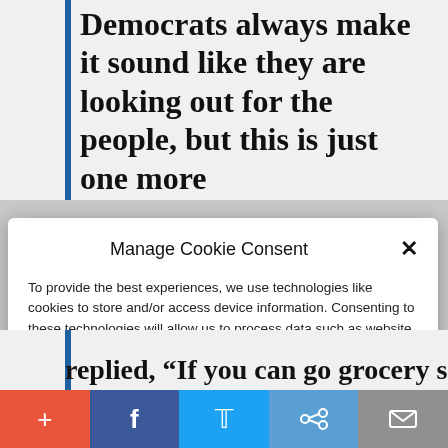Democrats always make it sound like they are looking out for the people, but this is just one more
Manage Cookie Consent
To provide the best experiences, we use technologies like cookies to store and/or access device information. Consenting to these technologies will allow us to process data such as website statistics. Not consenting or withdrawing consent, may adversely affect certain features and functions.
Accept
Cookie Policy  Privacy Policy
replied, “If you can go grocery shopping